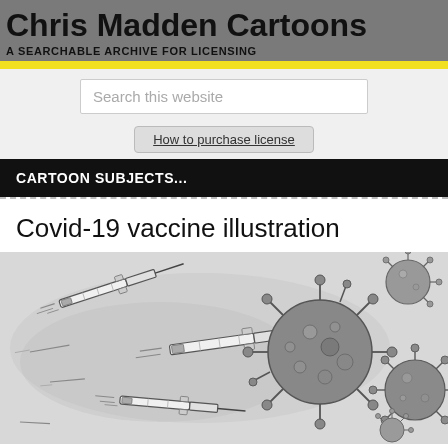Chris Madden Cartoons
A SEARCHABLE ARCHIVE FOR LICENSING
Search this website
How to purchase license
CARTOON SUBJECTS...
Covid-19 vaccine illustration
[Figure (illustration): Cartoon illustration showing multiple syringes flying to the right toward coronavirus particles. The syringes are drawn in a sketchy black and white style, speeding toward large and small detailed coronavirus spheres with spike proteins on the right side of the image. The background is a grey watercolor wash.]